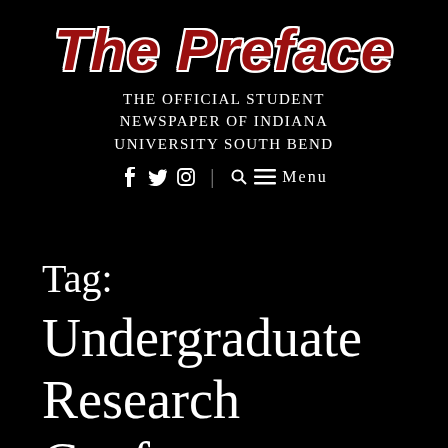The Preface
THE OFFICIAL STUDENT NEWSPAPER OF INDIANA UNIVERSITY SOUTH BEND
f  y  📷  |  🔍 ≡ Menu
Tag: Undergraduate Research Conference